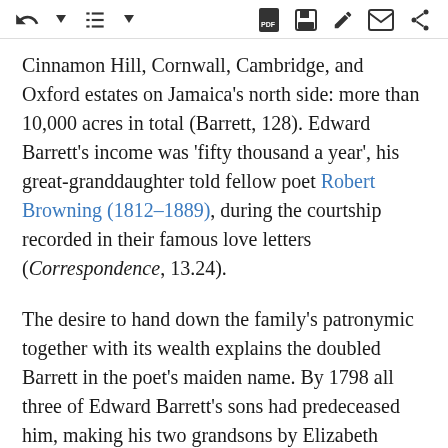toolbar icons
Cinnamon Hill, Cornwall, Cambridge, and Oxford estates on Jamaica's north side: more than 10,000 acres in total (Barrett, 128). Edward Barrett's income was 'fifty thousand a year', his great-granddaughter told fellow poet Robert Browning (1812–1889), during the courtship recorded in their famous love letters (Correspondence, 13.24).
The desire to hand down the family's patronymic together with its wealth explains the doubled Barrett in the poet's maiden name. By 1798 all three of Edward Barrett's sons had predeceased him, making his two grandsons by Elizabeth Moulton, Edward and Samuel Barrett Moulton (1787–1837), his principal male heirs. A clause in the will of his son George Goodin Barrett (1761–1795) had made